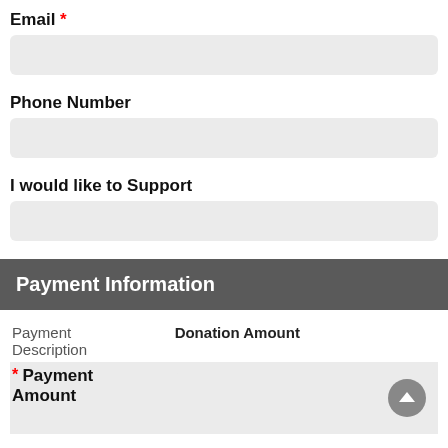Email *
Phone Number
I would like to Support
Payment Information
| Payment Description | Donation Amount |
| --- | --- |
| * Payment Amount |  |